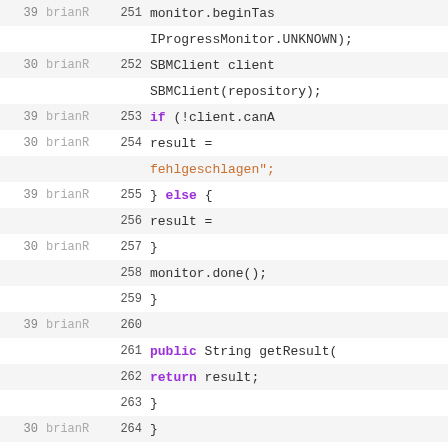| age | author | line | code |
| --- | --- | --- | --- |
| 39 | brianR | 251 |                             monitor.beginTas |
|  |  |  | IProgressMonitor.UNKNOWN); |
| 30 | brianR | 252 |                               SBMClient client |
|  |  |  | SBMClient(repository); |
| 39 | brianR | 253 |                                 if (!client.canA |
| 30 | brianR | 254 |                                      result = |
|  |  |  | fehlgeschlagen"; |
| 39 | brianR | 255 |                                 } else { |
|  |  | 256 |                                      result = |
| 30 | brianR | 257 |                                 } |
|  |  | 258 |                             monitor.done(); |
|  |  | 259 |                         } |
| 39 | brianR | 260 |  |
|  |  | 261 |             public String getResult( |
|  |  | 262 |                 return result; |
|  |  | 263 |             } |
| 30 | brianR | 264 |         } |
| 39 | brianR | 265 |  |
|  |  | 266 |             private void fillList(Table list |
|  |  | 267 |                 list.removeAll(); |
|  |  | 268 |                 for (int i = 0; i < fiel |
|  |  | 269 |                     TableItem item |